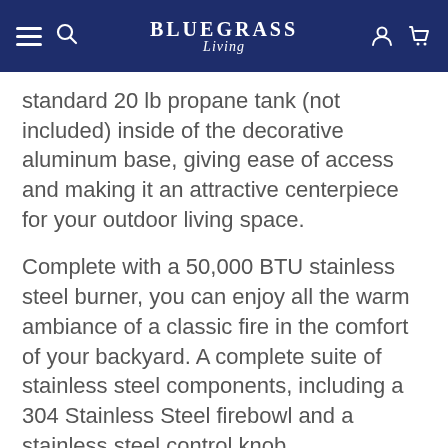BLUEGRASS Living
standard 20 lb propane tank (not included) inside of the decorative aluminum base, giving ease of access and making it an attractive centerpiece for your outdoor living space.
Complete with a 50,000 BTU stainless steel burner, you can enjoy all the warm ambiance of a classic fire in the comfort of your backyard. A complete suite of stainless steel components, including a 304 Stainless Steel firebowl and a stainless steel control knob, complemented with a full aluminum construction ensures that this fire pit table will last for years to come. Adding to the